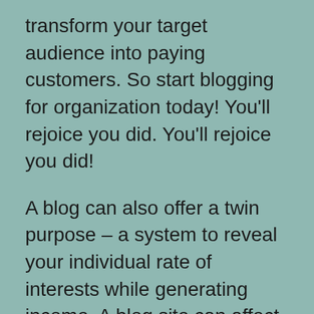transform your target audience into paying customers. So start blogging for organization today! You'll rejoice you did. You'll rejoice you did!
A blog can also offer a twin purpose – a system to reveal your individual rate of interests while generating income. A blog site can affect individuals, inform them, and also affect their purchasing choices. If done well, it can also help you construct your experience and land consulting deals. Regardless of the benefits of blogging for company, the procedure of creating a blog site is a superb